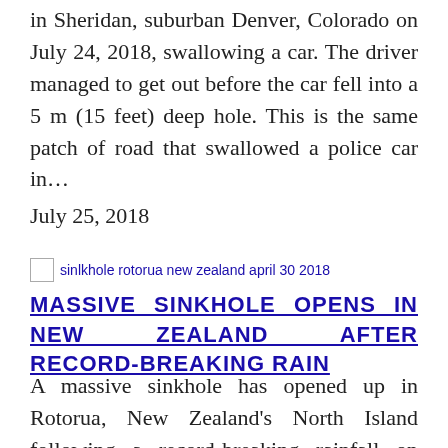in Sheridan, suburban Denver, Colorado on July 24, 2018, swallowing a car. The driver managed to get out before the car fell into a 5 m (15 feet) deep hole. This is the same patch of road that swallowed a police car in…
July 25, 2018
[Figure (other): Broken image placeholder with alt text: sinlkhole rotorua new zealand april 30 2018]
MASSIVE SINKHOLE OPENS IN NEW ZEALAND AFTER RECORD-BREAKING RAIN
A massive sinkhole has opened up in Rotorua, New Zealand's North Island following a record-breaking rainfall on Sunday, April 30, 2018. The sinkhole is 200 m (656 feet) long, 30 m (98